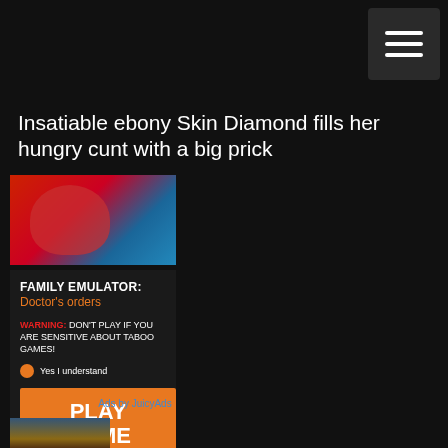[Figure (other): Hamburger menu icon button in top right corner, dark square background with three horizontal white lines]
Insatiable ebony Skin Diamond fills her hungry cunt with a big prick
[Figure (photo): Partial image showing woman in red top, cropped advertisement image]
[Figure (infographic): Advertisement banner: FAMILY EMULATOR: Doctor's orders. WARNING: DON'T PLAY IF YOU ARE SENSITIVE ABOUT TABOO GAMES! Yes I understand radio button. PLAY GAME orange button.]
Ads by JuicyAds
[Figure (photo): Partial thumbnail image at bottom of page showing person outdoors]